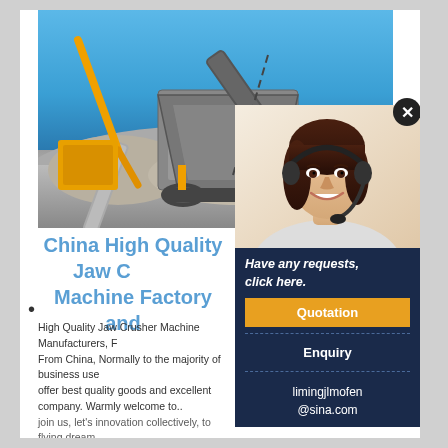[Figure (photo): Industrial jaw crusher machine on a quarry/mining site with blue sky background, heavy machinery with conveyor belts and excavator in background]
[Figure (photo): Customer service representative woman smiling with headset microphone]
China High Quality Jaw Crusher Machine Factory and...
Have any requests, click here.
Quotation
Enquiry
limingjlmofen@sina.com
High Quality Jaw Crusher Machine Manufacturers, Factory From China, Normally to the majority of business users, offer best quality goods and excellent company. Warmly welcome to... join us, let's innovation collectively, to flying dream...